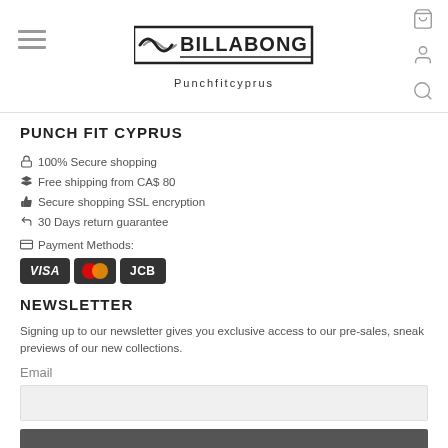[Figure (logo): Billabong logo with wave and text, tagline 'Punchfitcyprus' below]
PUNCH FIT CYPRUS
🔒 100% Secure shopping
✈ Free shipping from CA$ 80
👍 Secure shopping SSL encryption
↩ 30 Days return guarantee
💳 Payment Methods:
[Figure (other): Payment method badges: VISA, Mastercard, JCB]
NEWSLETTER
Signing up to our newsletter gives you exclusive access to our pre-sales, sneak previews of our new collections.
Email